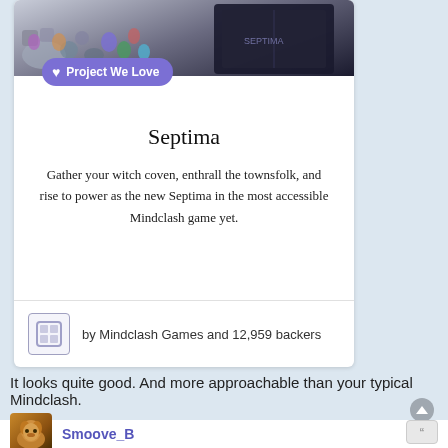[Figure (screenshot): Kickstarter project card for 'Septima' board game showing dice and gems image at top, 'Project We Love' badge, game title, description text, and creator info with Mindclash Games logo and backer count]
Septima
Gather your witch coven, enthrall the townsfolk, and rise to power as the new Septima in the most accessible Mindclash game yet.
by Mindclash Games and 12,959 backers
It looks quite good. And more approachable than your typical Mindclash.
Smoove_B